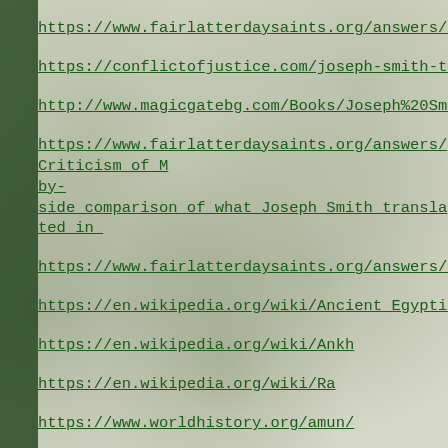https://www.fairlatterdaysaints.org/answers/Book_of_Abra
https://conflictofjustice.com/joseph-smith-translate-facsim
http://www.magicgatebg.com/Books/Joseph%20Smith%2
https://www.fairlatterdaysaints.org/answers/Criticism_of_M by- side_comparison_of_what_Joseph_Smith_translated_in_
https://www.fairlatterdaysaints.org/answers/Book_of_Abra
https://en.wikipedia.org/wiki/Ancient_Egyptian_conception
https://en.wikipedia.org/wiki/Ankh
https://en.wikipedia.org/wiki/Ra
https://www.worldhistory.org/amun/